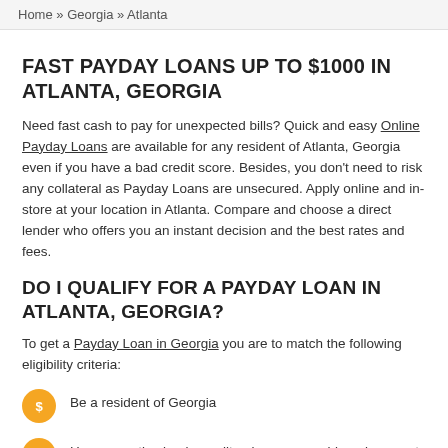Home » Georgia » Atlanta
FAST PAYDAY LOANS UP TO $1000 IN ATLANTA, GEORGIA
Need fast cash to pay for unexpected bills? Quick and easy Online Payday Loans are available for any resident of Atlanta, Georgia even if you have a bad credit score. Besides, you don't need to risk any collateral as Payday Loans are unsecured. Apply online and in-store at your location in Atlanta. Compare and choose a direct lender who offers you an instant decision and the best rates and fees.
DO I QUALIFY FOR A PAYDAY LOAN IN ATLANTA, GEORGIA?
To get a Payday Loan in Georgia you are to match the following eligibility criteria:
Be a resident of Georgia
Have an active bank, credit union, or prepaid card account